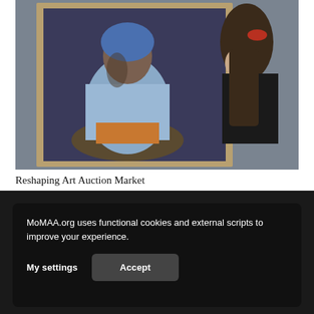[Figure (photo): A painting of a seated person in a blue garment with a blue head covering, in a gilded frame, being viewed by a woman with long dark hair wearing a black top, against a grey wall background.]
Reshaping Art Auction Market
MoMAA.org uses functional cookies and external scripts to improve your experience.
My settings
Accept